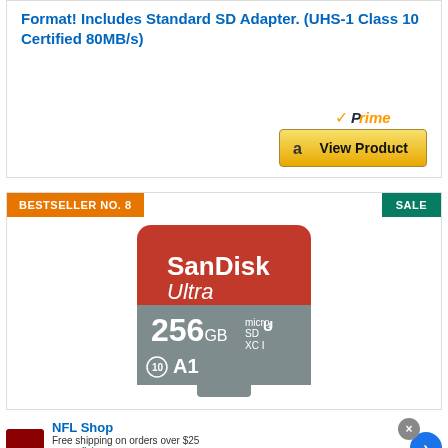Format! Includes Standard SD Adapter. (UHS-1 Class 10 Certified 80MB/s)
[Figure (other): Amazon Prime badge with orange checkmark]
[Figure (other): Amazon View Product button with Amazon logo]
BESTSELLER NO. 8
SALE
[Figure (photo): SanDisk Ultra 256GB microSDXC UHS-1 Class 10 A1 memory card product photo]
[Figure (other): NFL Shop advertisement with red product image, Shop Now button, free shipping offer, and navigation arrow]